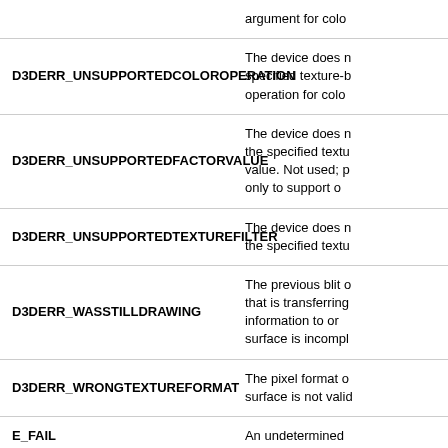| Name | Description |
| --- | --- |
|  | argument for colo... |
| D3DERR_UNSUPPORTEDCOLOROPERATION | The device does n... specified texture-b... operation for colo... |
| D3DERR_UNSUPPORTEDFACTORVALUE | The device does n... the specified textu... value. Not used; p... only to support o... |
| D3DERR_UNSUPPORTEDTEXTUREFILTER | The device does n... the specified textu... |
| D3DERR_WASSTILLDRAWING | The previous blit o... that is transferring... information to or ... surface is incompl... |
| D3DERR_WRONGTEXTUREFORMAT | The pixel format o... surface is not valid... |
| E_FAIL | An undetermined... |